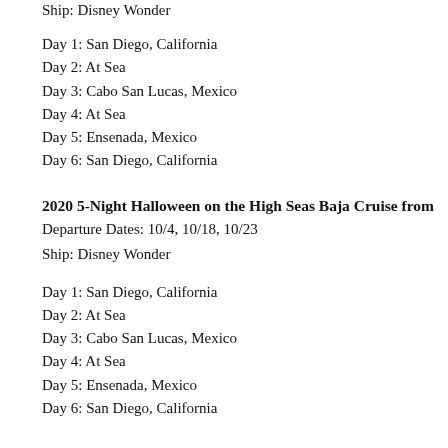Ship: Disney Wonder
Day 1: San Diego, California
Day 2: At Sea
Day 3: Cabo San Lucas, Mexico
Day 4: At Sea
Day 5: Ensenada, Mexico
Day 6: San Diego, California
2020 5-Night Halloween on the High Seas Baja Cruise from
Departure Dates: 10/4, 10/18, 10/23
Ship: Disney Wonder
Day 1: San Diego, California
Day 2: At Sea
Day 3: Cabo San Lucas, Mexico
Day 4: At Sea
Day 5: Ensenada, Mexico
Day 6: San Diego, California